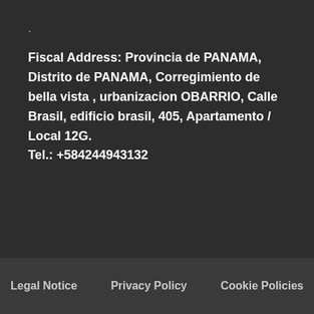.
Fiscal Address: Provincia de PANAMA, Distrito de PANAMA, Corregimiento de bella vista , urbanizacion OBARRIO, Calle Brasil, edificio brasil, 405, Apartamento / Local 12G.
Tel.: +584244943132
Legal Notice    Privacy Policy    Cookie Policies